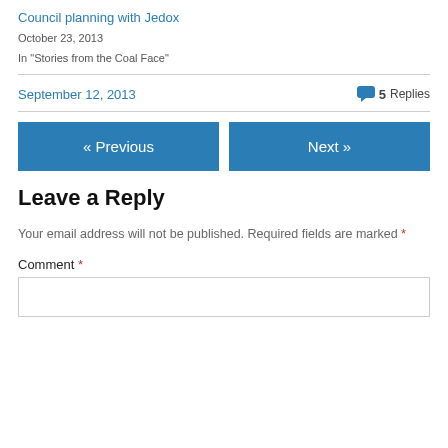Council planning with Jedox
October 23, 2013
In "Stories from the Coal Face"
September 12, 2013
5 Replies
« Previous
Next »
Leave a Reply
Your email address will not be published. Required fields are marked *
Comment *